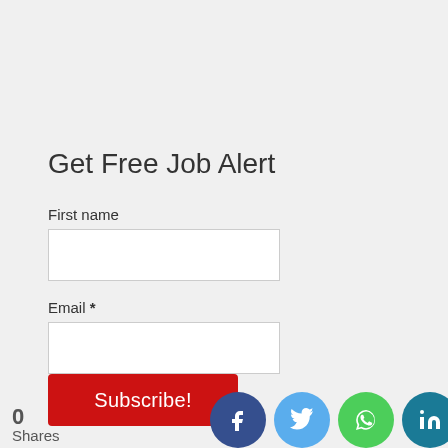Get Free Job Alert
First name
Email *
Subscribe!
0 Shares